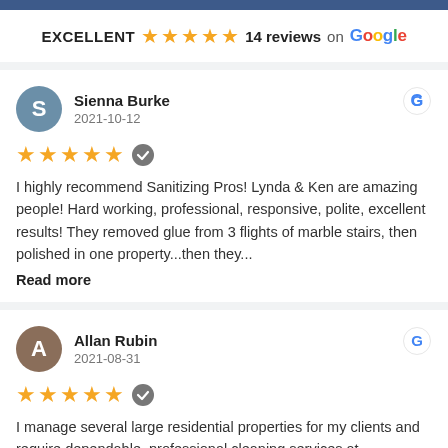EXCELLENT ★★★★★ 14 reviews on Google
Sienna Burke
2021-10-12
★★★★★ verified
I highly recommend Sanitizing Pros! Lynda & Ken are amazing people! Hard working, professional, responsive, polite, excellent results! They removed glue from 3 flights of marble stairs, then polished in one property...then they...
Read more
Allan Rubin
2021-08-31
★★★★★ verified
I manage several large residential properties for my clients and require dependable, professional cleaning services at...